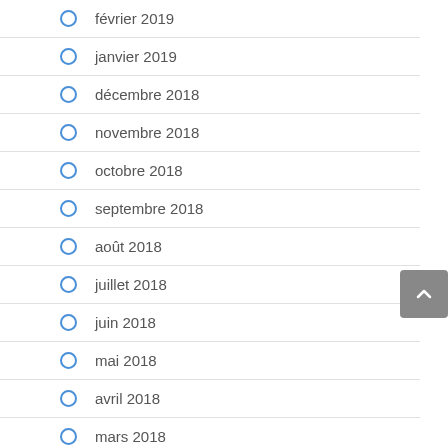février 2019
janvier 2019
décembre 2018
novembre 2018
octobre 2018
septembre 2018
août 2018
juillet 2018
juin 2018
mai 2018
avril 2018
mars 2018